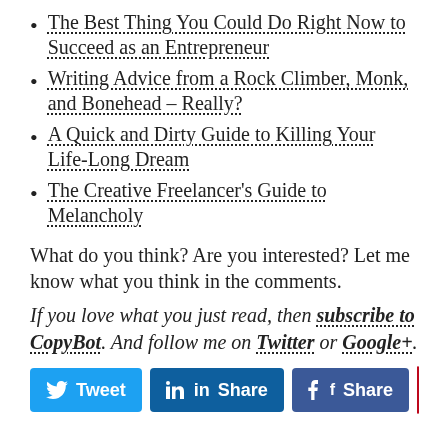The Best Thing You Could Do Right Now to Succeed as an Entrepreneur
Writing Advice from a Rock Climber, Monk, and Bonehead – Really?
A Quick and Dirty Guide to Killing Your Life-Long Dream
The Creative Freelancer's Guide to Melancholy
What do you think? Are you interested? Let me know what you think in the comments.
If you love what you just read, then subscribe to CopyBot. And follow me on Twitter or Google+.
[Figure (infographic): Social sharing buttons: Tweet (Twitter, blue), Share (LinkedIn, dark blue), Share (Facebook, blue), Pinterest share button with count of 1]